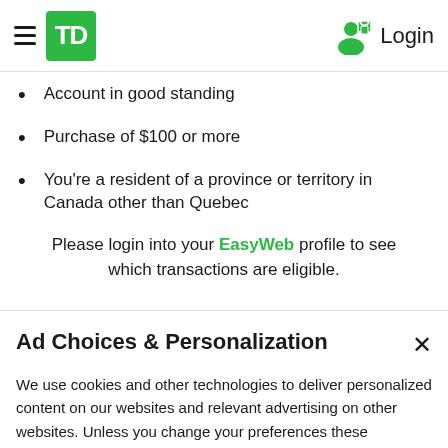TD Login
Account in good standing
Purchase of $100 or more
You're a resident of a province or territory in Canada other than Quebec
Please login into your EasyWeb profile to see which transactions are eligible.
Ad Choices & Personalization
We use cookies and other technologies to deliver personalized content on our websites and relevant advertising on other websites. Unless you change your preferences these technologies allow TD and our ad partners to better align ads with your banking goals.
Manage your preferences ›